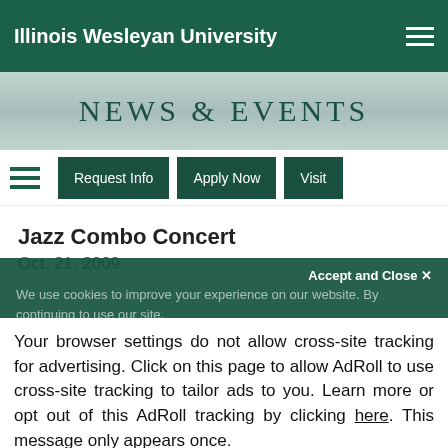Illinois Wesleyan University
[Figure (screenshot): News & Events banner with campus background]
Request Info | Apply Now | Visit
Jazz Combo Concert
Oct. 21, 2009
We use cookies to improve your experience on our website. By continuing to use our site...
Accept and Close ✕
Your browser settings do not allow cross-site tracking for advertising. Click on this page to allow AdRoll to use cross-site tracking to tailor ads to you. Learn more or opt out of this AdRoll tracking by clicking here. This message only appears once.
Active Ingredient, will end the show